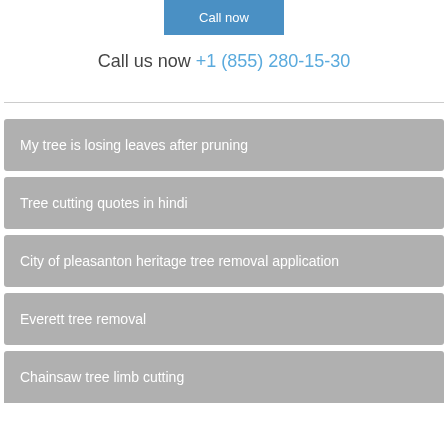Call now
Call us now +1 (855) 280-15-30
My tree is losing leaves after pruning
Tree cutting quotes in hindi
City of pleasanton heritage tree removal application
Everett tree removal
Chainsaw tree limb cutting